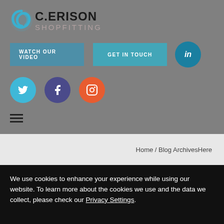[Figure (logo): C.Erison Shopfitting logo with blue swirl icon and bold text]
[Figure (infographic): Navigation buttons: WATCH OUR VIDEO (blue), GET IN TOUCH (teal), LinkedIn circle, Twitter circle, Facebook circle, Instagram circle]
[Figure (infographic): Hamburger menu icon (three horizontal bars)]
Home / Blog ArchivesHere
We use cookies to enhance your experience while using our website. To learn more about the cookies we use and the data we collect, please check our Privacy Settings.